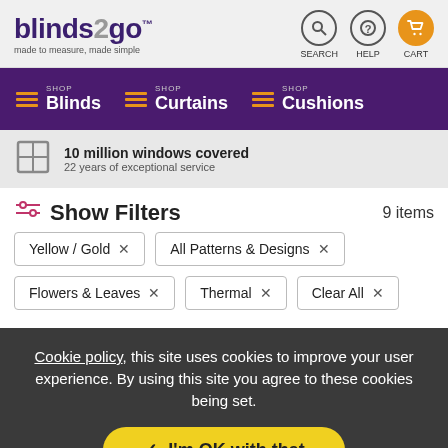blinds2go™ made to measure, made simple — SEARCH HELP CART
SHOP Blinds  SHOP Curtains  SHOP Cushions
10 million windows covered — 22 years of exceptional service
Show Filters   9 items
Yellow / Gold ×
All Patterns & Designs ×
Flowers & Leaves ×
Thermal ×
Clear All ×
Cookie policy, this site uses cookies to improve your user experience. By using this site you agree to these cookies being set.
✓ I'm OK with that